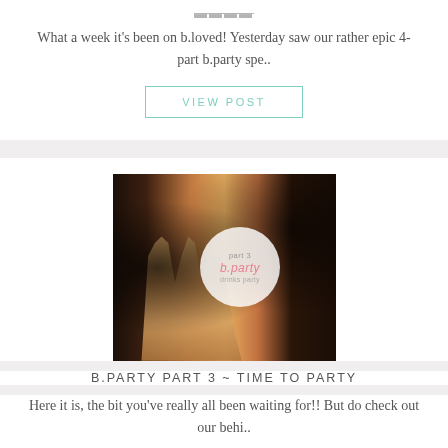What a week it's been on b.loved! Yesterday saw our rather epic 4-part b.party spe..
VIEW POST
[Figure (photo): Party scene with champagne glasses being poured on a table, with a circular overlay badge reading 'part 3 b.party drinks party']
B.PARTY PART 3 ~ TIME TO PARTY
Here it is, the bit you've really all been waiting for!! But do check out our behi..
VIEW POST